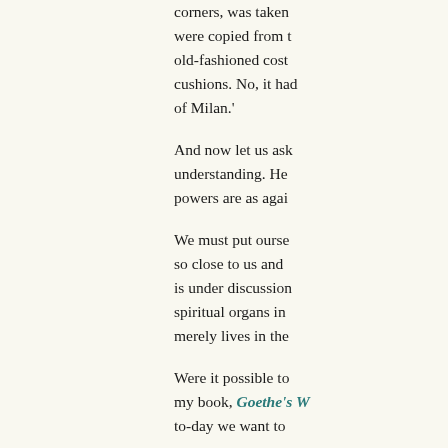corners, was taken were copied from t old-fashioned cost cushions. No, it had of Milan.'
And now let us ask understanding. He powers are as agai
We must put ourse so close to us and is under discussion spiritual organs in merely lives in the
Were it possible to my book, Goethe's W to-day we want to